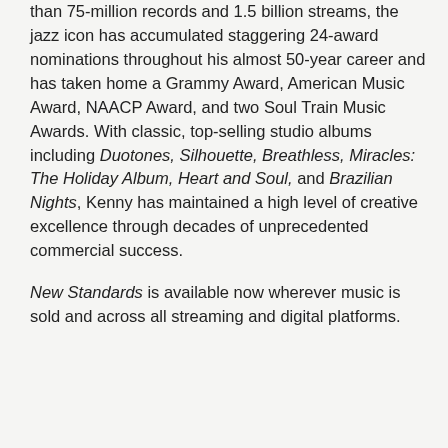than 75-million records and 1.5 billion streams, the jazz icon has accumulated staggering 24-award nominations throughout his almost 50-year career and has taken home a Grammy Award, American Music Award, NAACP Award, and two Soul Train Music Awards. With classic, top-selling studio albums including Duotones, Silhouette, Breathless, Miracles: The Holiday Album, Heart and Soul, and Brazilian Nights, Kenny has maintained a high level of creative excellence through decades of unprecedented commercial success.
New Standards is available now wherever music is sold and across all streaming and digital platforms.